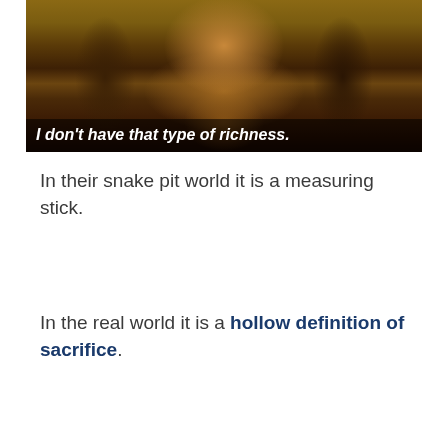[Figure (photo): Close-up photo of a person with dreadlocks and facial hair, mouth slightly open. A caption overlay at the bottom reads: I don't have that type of richness.]
In their snake pit world it is a measuring stick.
In the real world it is a hollow definition of sacrifice.